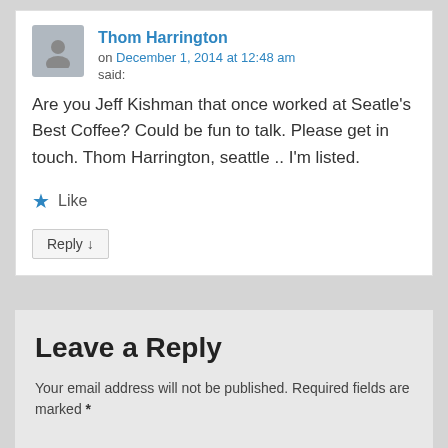Thom Harrington on December 1, 2014 at 12:48 am said:
Are you Jeff Kishman that once worked at Seatle's Best Coffee? Could be fun to talk. Please get in touch. Thom Harrington, seattle .. I'm listed.
Like
Reply ↓
Leave a Reply
Your email address will not be published. Required fields are marked *